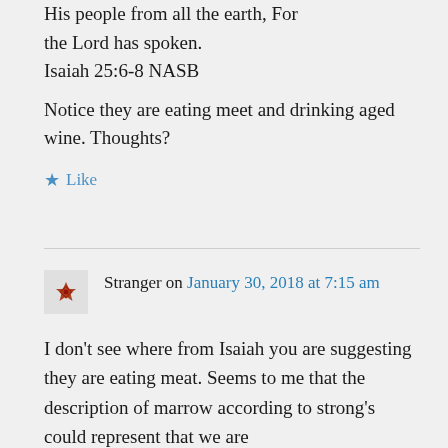His people from all the earth, For the Lord has spoken. Isaiah 25:6-8 NASB
Notice they are eating meet and drinking aged wine. Thoughts?
Like
Stranger on January 30, 2018 at 7:15 am
I don't see where from Isaiah you are suggesting they are eating meat. Seems to me that the description of marrow according to strong's could represent that we are